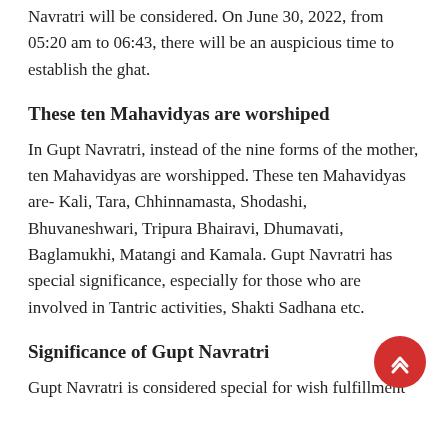Navratri will be considered. On June 30, 2022, from 05:20 am to 06:43, there will be an auspicious time to establish the ghat.
These ten Mahavidyas are worshiped
In Gupt Navratri, instead of the nine forms of the mother, ten Mahavidyas are worshipped. These ten Mahavidyas are- Kali, Tara, Chhinnamasta, Shodashi, Bhuvaneshwari, Tripura Bhairavi, Dhumavati, Baglamukhi, Matangi and Kamala. Gupt Navratri has special significance, especially for those who are involved in Tantric activities, Shakti Sadhana etc.
Significance of Gupt Navratri
Gupt Navratri is considered special for wish fulfillment